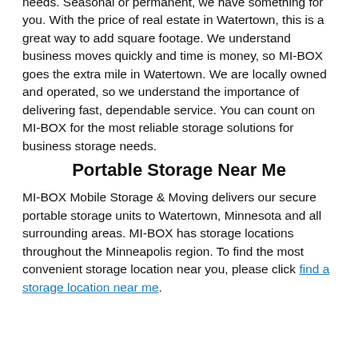needs. Seasonal or permanent, we have something for you. With the price of real estate in Watertown, this is a great way to add square footage. We understand business moves quickly and time is money, so MI-BOX goes the extra mile in Watertown. We are locally owned and operated, so we understand the importance of delivering fast, dependable service. You can count on MI-BOX for the most reliable storage solutions for business storage needs.
Portable Storage Near Me
MI-BOX Mobile Storage & Moving delivers our secure portable storage units to Watertown, Minnesota and all surrounding areas. MI-BOX has storage locations throughout the Minneapolis region. To find the most convenient storage location near you, please click find a storage location near me.